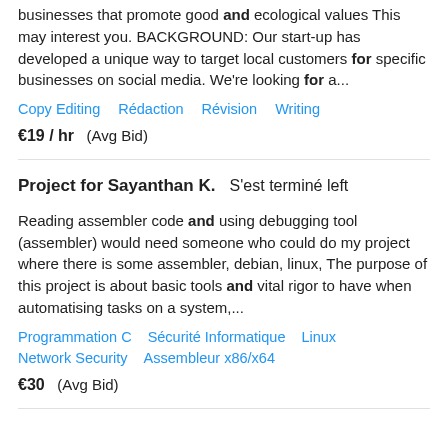businesses that promote good and ecological values This may interest you. BACKGROUND: Our start-up has developed a unique way to target local customers for specific businesses on social media. We're looking for a...
Copy Editing   Rédaction   Révision   Writing
€19 / hr   (Avg Bid)
Project for Sayanthan K.   S&#039;est terminé left
Reading assembler code and using debugging tool (assembler) would need someone who could do my project where there is some assembler, debian, linux, The purpose of this project is about basic tools and vital rigor to have when automatising tasks on a system,...
Programmation C   Sécurité Informatique   Linux   Network Security   Assembleur x86/x64
€30   (Avg Bid)